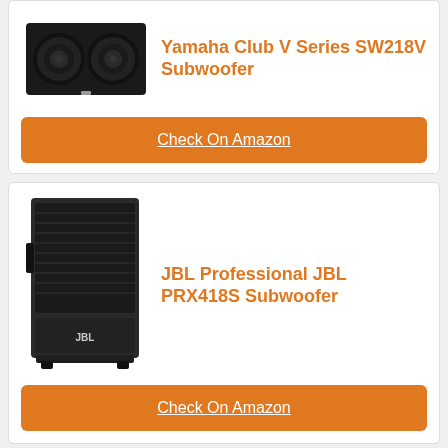[Figure (photo): Yamaha Club V Series SW218V dual 18-inch subwoofer speaker, black cabinet]
Yamaha Club V Series SW218V Subwoofer
Check On Amazon
[Figure (photo): JBL Professional PRX418S single 18-inch subwoofer, black cabinet with metal grille]
JBL Professional JBL PRX418S Subwoofer
Check On Amazon